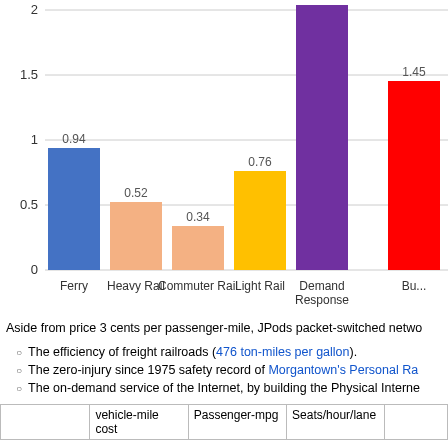[Figure (bar-chart): ]
Aside from price 3 cents per passenger-mile, JPods packet-switched netwo...
The efficiency of freight railroads (476 ton-miles per gallon).
The zero-injury since 1975 safety record of Morgantown's Personal Ra...
The on-demand service of the Internet, by building the Physical Interne...
|  | vehicle-mile cost | Passenger-mpg | Seats/hour/lane |  |
| --- | --- | --- | --- | --- |